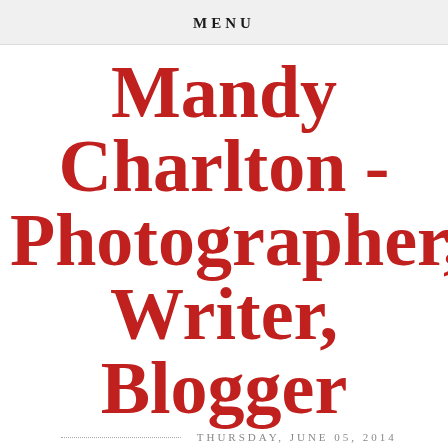MENU
Mandy Charlton - Photographer, Writer, Blogger
THURSDAY, JUNE 05, 2014
Comfortable Camping in Northumberland at the Bells of Hemscott
I've been camping once, it nearly caused divorce so when I heard about the Bells of Hemscott and their comfortable camping I was intrigued.  Based on a farm near Druridge Bay on the beautiful